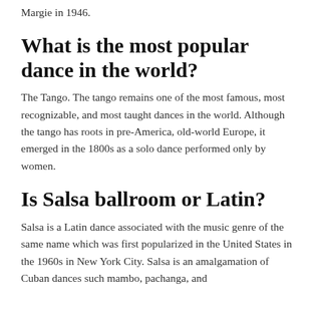Margie in 1946.
What is the most popular dance in the world?
The Tango. The tango remains one of the most famous, most recognizable, and most taught dances in the world. Although the tango has roots in pre-America, old-world Europe, it emerged in the 1800s as a solo dance performed only by women.
Is Salsa ballroom or Latin?
Salsa is a Latin dance associated with the music genre of the same name which was first popularized in the United States in the 1960s in New York City. Salsa is an amalgamation of Cuban dances such mambo, pachanga, and